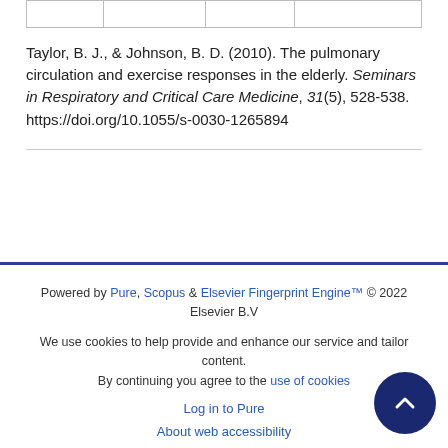Taylor, B. J., & Johnson, B. D. (2010). The pulmonary circulation and exercise responses in the elderly. Seminars in Respiratory and Critical Care Medicine, 31(5), 528-538. https://doi.org/10.1055/s-0030-1265894
Powered by Pure, Scopus & Elsevier Fingerprint Engine™ © 2022 Elsevier B.V
We use cookies to help provide and enhance our service and tailor content. By continuing you agree to the use of cookies
Log in to Pure
About web accessibility
Contact us